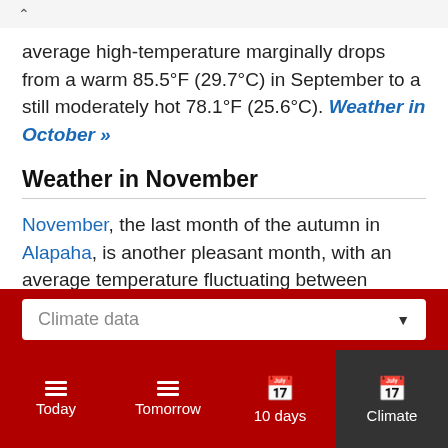average high-temperature marginally drops from a warm 85.5°F (29.7°C) in September to a still moderately hot 78.1°F (25.6°C). Weather in October »
Weather in November
November, the last month of the autumn in Alapaha, is another pleasant month, with an average temperature fluctuating between 49.6°F (9.8°C) and 68.2°F (20.1°C). In November, the average high-
Climate data
Today   Tomorrow   10 days   Climate